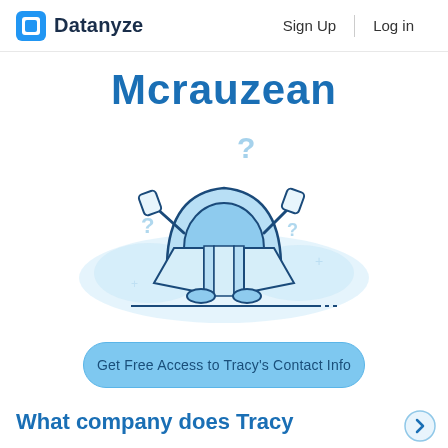Datanyze  Sign Up  Log in
Mcrauzean
[Figure (illustration): Cartoon mascot character (rounded blue creature) holding open a map/book, with question marks around it, suggesting confusion or searching for information. Light blue color scheme with navy outlines.]
Get Free Access to Tracy's Contact Info
What company does Tracy